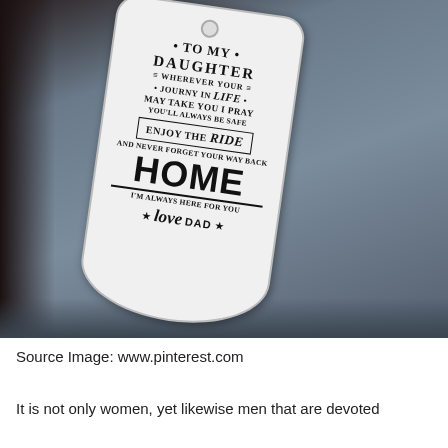[Figure (photo): A dog tag / metal keychain engraved with a message to a daughter, resting on a grey fabric surface. The tag reads: TO MY DAUGHTER / WHEREVER YOUR / JOURNY IN Life / MAY TAKE YOU I PRAY / YOU'LL ALWAYS BE SAFE / ENJOY THE Ride / AND NEVER FORGET YOUR WAY BACK / HOME / I'M ALWAYS HERE FOR YOU / Love DAD]
Source Image: www.pinterest.com
It is not only women, yet likewise men that are devoted